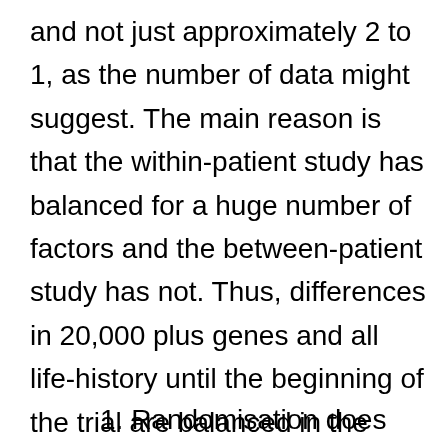and not just approximately 2 to 1, as the number of data might suggest. The main reason is that the within-patient study has balanced for a huge number of factors and the between-patient study has not. Thus, differences in 20,000 plus genes and all life-history until the beginning of the trial are balanced in the within-patient study, since each patient is his or her own control. For the between-patient study none of this is balanced by design. In fact, there are two crucial points regarding balance.
1. Randomisation does not produce